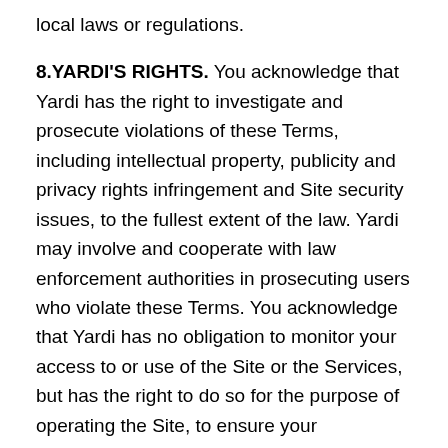local laws or regulations.
8.YARDI'S RIGHTS. You acknowledge that Yardi has the right to investigate and prosecute violations of these Terms, including intellectual property, publicity and privacy rights infringement and Site security issues, to the fullest extent of the law. Yardi may involve and cooperate with law enforcement authorities in prosecuting users who violate these Terms. You acknowledge that Yardi has no obligation to monitor your access to or use of the Site or the Services, but has the right to do so for the purpose of operating the Site, to ensure your compliance with these Terms or to comply with applicable law or the order or requirement of a court, administrative agency or other governmental body.
9.SITE CONTENT GENERALLY. It is solely your responsibility to...